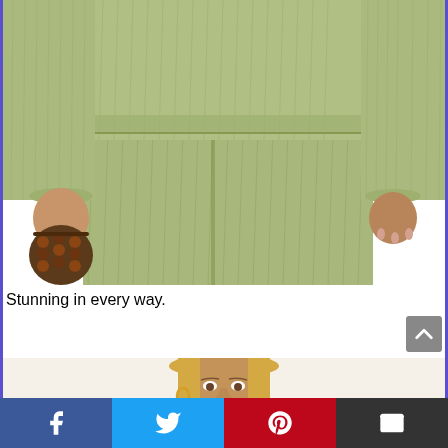[Figure (photo): Woman wearing a sage green pleated two-piece outfit (long sleeve blouse and wide-leg pants), holding a tortoiseshell beaded bag. Cropped to show torso and hands.]
Stunning in every way.
[Figure (photo): Partial view of a woman with blonde hair wearing a top, cropped to show face and upper chest area with gold hoop earrings.]
Facebook | Twitter | Pinterest | Email share buttons